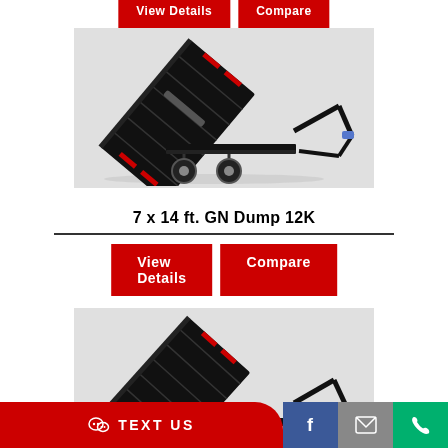[Figure (photo): Black gooseneck dump trailer with bed raised at an angle, showing dual axles and hydraulic lift mechanism, on light grey background]
7 x 14 ft. GN Dump 12K
View Details
Compare
[Figure (photo): Second black gooseneck dump trailer with bed raised, partially visible, same style as above]
TEXT US
[Figure (logo): Facebook icon, email icon, phone icon in colored boxes at bottom right]